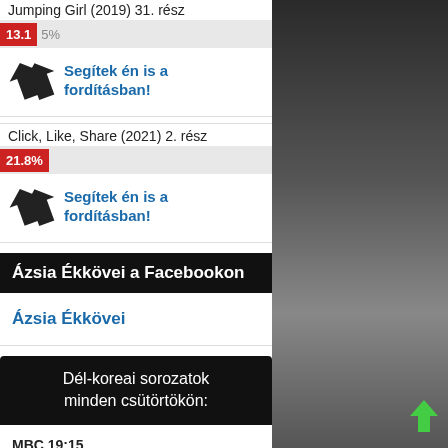Jumping Girl (2019) 31. rész
13.1  5%
Segítek én is a fordításban!
Click, Like, Share (2021) 2. rész
21.8%
Segítek én is a fordításban!
Ázsia Ékkövei a Facebookon
Ázsia Ékkövei
Dél-koreai sorozatok minden csütörtökön:
MBC 19:15
A Secret House
KBS2 19:50
Golden Mask